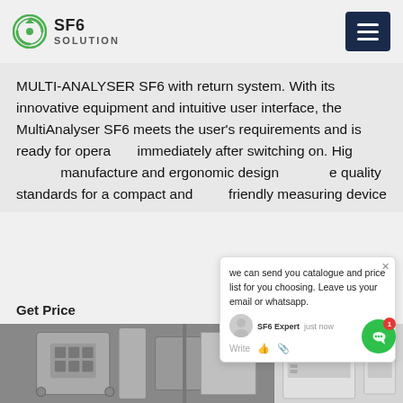SF6 SOLUTION
MULTI-ANALYSER SF6 with return system. With its innovative equipment and intuitive user interface, the MultiAnalyser SF6 meets the user's requirements and is ready for operation immediately after switching on. High-quality manufacture and ergonomic design meet the quality standards for a compact and user-friendly measuring device
Get Price
[Figure (screenshot): Chat popup widget showing message: 'we can send you catalogue and price list for you choosing. Leave us your email or whatsapp.' with SF6 Expert agent and just now timestamp, plus write area with icons]
[Figure (photo): Photo of SF6 electrical equipment/switchgear installation showing industrial machinery with grey panels and components]